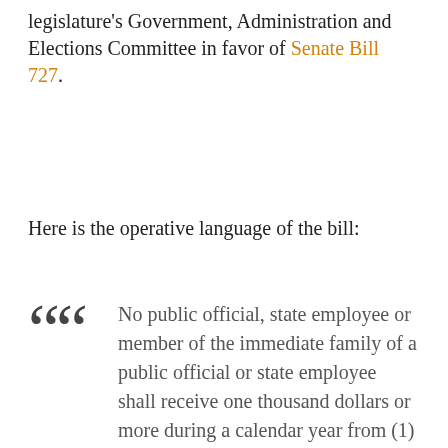legislature's Government, Administration and Elections Committee in favor of Senate Bill 727.
Here is the operative language of the bill:
No public official, state employee or member of the immediate family of a public official or state employee shall receive one thousand dollars or more during a calendar year from (1) a state contractor that derives five per cent or more of its revenue from state contracts or from any other person other than a state employee that